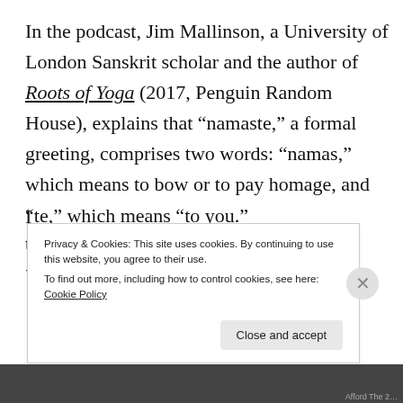In the podcast, Jim Mallinson, a University of London Sanskrit scholar and the author of Roots of Yoga (2017, Penguin Random House), explains that “namaste,” a formal greeting, comprises two words: “namas,” which means to bow or to pay homage, and “te,” which means “to you.”
Privacy & Cookies: This site uses cookies. By continuing to use this website, you agree to their use. To find out more, including how to control cookies, see here: Cookie Policy
Close and accept